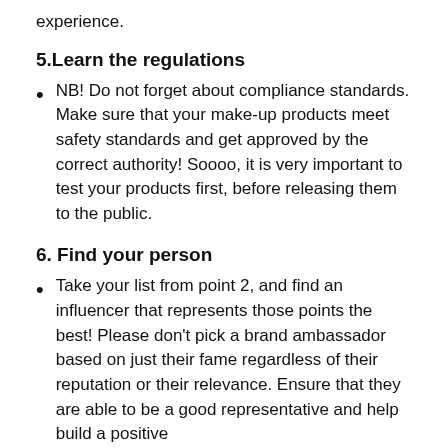experience.
5.Learn the regulations
NB! Do not forget about compliance standards. Make sure that your make-up products meet safety standards and get approved by the correct authority! Soooo, it is very important to test your products first, before releasing them to the public.
6. Find your person
Take your list from point 2, and find an influencer that represents those points the best! Please don't pick a brand ambassador based on just their fame regardless of their reputation or their relevance. Ensure that they are able to be a good representative and help build a positive